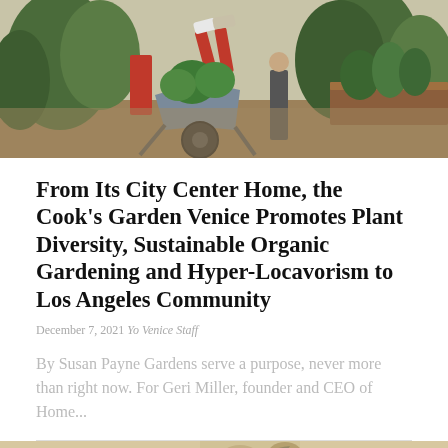[Figure (photo): Outdoor community garden scene showing people working with a wheelbarrow filled with green plants, raised garden beds visible on the right, mulched ground, lush vegetation.]
From Its City Center Home, the Cook's Garden Venice Promotes Plant Diversity, Sustainable Organic Gardening and Hyper-Locavorism to Los Angeles Community
December 7, 2021 Yo Venice Staff
By Susan Payne Gardens serve a purpose, never more than right now. For Geri Miller, founder and CEO of Home...
[Figure (photo): Partial photo at the bottom of the page, cropped, showing what appears to be an animal or garden scene.]